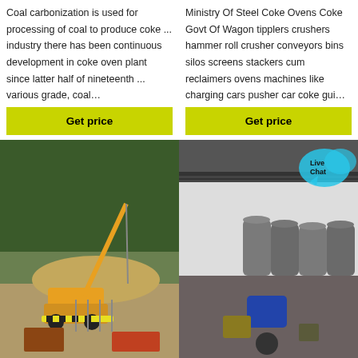Coal carbonization is used for processing of coal to produce coke ... industry there has been continuous development in coke oven plant since latter half of nineteenth ... various grade, coal…
Ministry Of Steel Coke Ovens Coke Govt Of Wagon tipplers crushers hammer roll crusher conveyors bins silos screens stackers cum reclaimers ovens machines like charging cars pusher car coke gui…
[Figure (other): Yellow Get price button]
[Figure (other): Yellow Get price button with Live Chat bubble]
[Figure (photo): Construction site with yellow crane on dirt ground surrounded by trees]
[Figure (photo): Warehouse interior with large grey bags and industrial equipment]
coal hammer crusher
crusher used coke